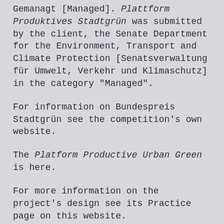[...] Gemanagt [Managed]. Plattform Produktives Stadtgrün was submitted by the client, the Senate Department for the Environment, Transport and Climate Protection [Senatsverwaltung für Umwelt, Verkehr und Klimaschutz] in the category "Managed".
For information on Bundespreis Stadtgrün see the competition's own website.
The Platform Productive Urban Green is here.
For more information on the project's design see its Practice page on this website.
To keep up to date with the project's